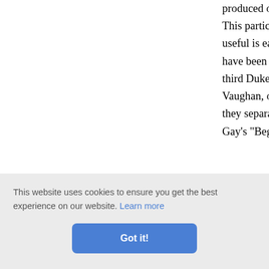produced on the stage, who has obtained. This particular instance hardly furnishes useful is early experience—without it h have been taught to receive as indisput. third Duke of Bolton, was at the age of Vaughan, only daughter and heiress of J they separated. Some years later the Du Gay's "Beggar's Opera." On the death o
Henry Fielding, was Lady Mary's sec between them, although some acquaint 1727, when he was twenty and near consulted her about his comedy, "Love in the following year she sent her a cop honour adyship's nd indeed it will be ing wrote our the s perusal. As they are written on a model
This website uses cookies to ensure you get the best experience on our website. Learn more
Got it!